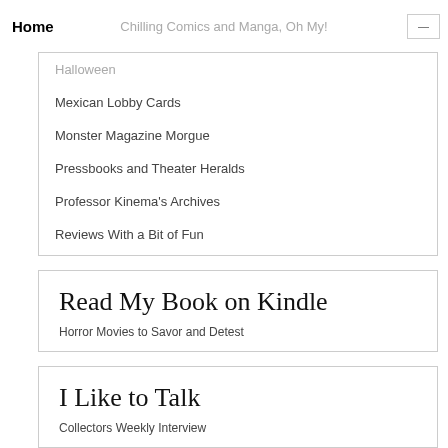Home | Chilling Comics and Manga, Oh My!
Halloween
Mexican Lobby Cards
Monster Magazine Morgue
Pressbooks and Theater Heralds
Professor Kinema's Archives
Reviews With a Bit of Fun
Read My Book on Kindle
Horror Movies to Savor and Detest
I Like to Talk
Collectors Weekly Interview